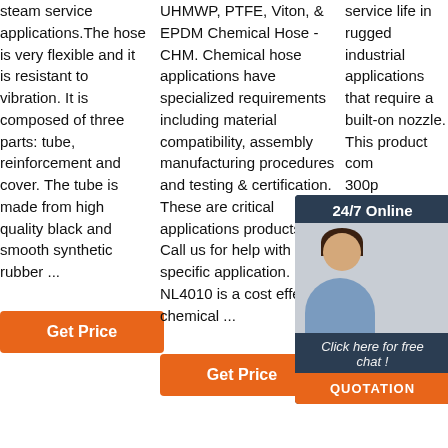steam service applications.The hose is very flexible and it is resistant to vibration. It is composed of three parts: tube, reinforcement and cover. The tube is made from high quality black and smooth synthetic rubber ...
UHMWP, PTFE, Viton, & EPDM Chemical Hose - CHM. Chemical hose applications have specialized requirements including material compatibility, assembly manufacturing procedures and testing & certification. These are critical applications products. Call us for help with your specific application. NL4010 is a cost effective chemical ...
service life in rugged industrial applications that require a built-on nozzle. This product com... 300p... prov... abr... and ... that ... Con... and ... Bla... resi...
[Figure (other): Chat widget with a photo of a customer service representative and 24/7 Online header, Click here for free chat text, and QUOTATION button]
Get Price
Get Price
Get Price (partially visible at bottom)